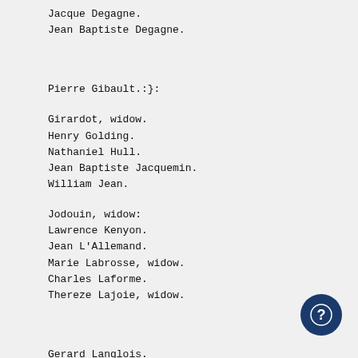Jacque Degagne.
Jean Baptiste Degagne.
Pierre Gibault.:}:
Girardot, widow.
Henry Golding.
Nathaniel Hull.
Jean Baptiste Jacquemin.
William Jean.
Jodouin, widow:
Lawrence Kenyon.
Jean L'Allemand.
Marie Labrosse, widow.
Charles Laforme.
Thereze Lajoie, widow.
Gerard Langlois.